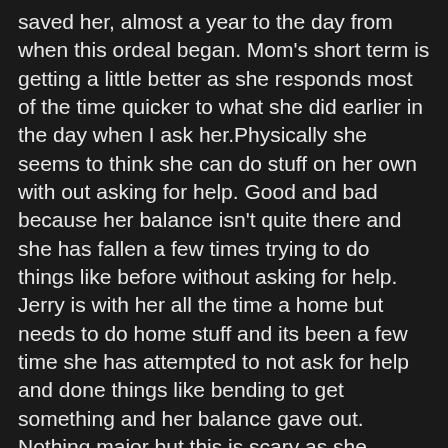saved her, almost a year to the day from when this ordeal began. Mom's short term is getting a little better as she responds most of the time quicker to what she did earlier in the day when I ask her.Physically she seems to think she can do stuff on her own with out asking for help. Good and bad because her balance isn't quite there and she has fallen a few times trying to do things like before without asking for help. Jerry is with her all the time a home but needs to do home stuff and its been a few time she has attempted to not ask for help and done things like bending to get something and her balance gave out. Nothing major but this is scary as she become more independent not understanding that she can't do some stuff yet and can hurt herself.
----
July 8-17th--Not a whole lot going on as things have returned to being almost normal. Mom's memory is getting better, She walks by herself still a little wobbly, Eating well, and being herself ! Jerry and her go to the